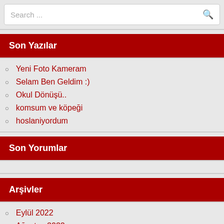[Figure (screenshot): Search input box with placeholder text 'Search ...' and a search icon on the right]
Son Yazılar
Yeni Foto Kameram
Selam Ben Geldim :)
Okul Dönüşü..
komsum ve köpeği
hoslaniyordum
Son Yorumlar
Arşivler
Eylül 2022
Ağustos 2022